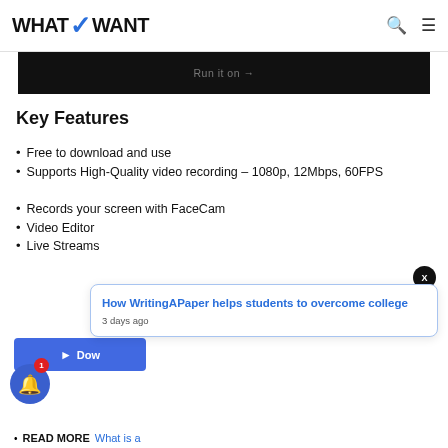WHATVWANT (logo) | search icon | menu icon
[Figure (screenshot): Dark black banner with faint text 'Run it on →']
Key Features
Free to download and use
Supports High-Quality video recording – 1080p, 12Mbps, 60FPS
Records your screen with FaceCam
Video Editor
Live Streams
[Figure (screenshot): Blue download button partially visible, notification bell with badge '1', popup card with link 'How WritingAPaper helps students to overcome college' and timestamp '3 days ago', and close X button]
READ MORE  What is a